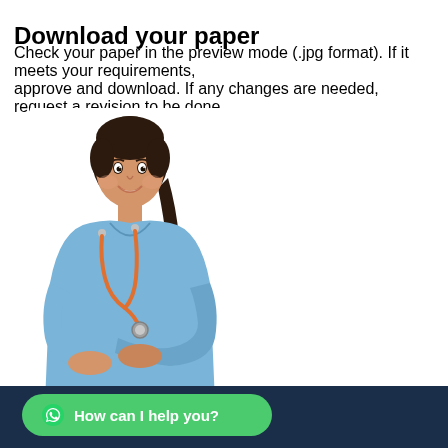Download your paper
Check your paper in the preview mode (.jpg format). If it meets your requirements, approve and download. If any changes are needed, request a revision to be done.
[Figure (photo): A smiling female nurse in blue scrubs with a stethoscope, arms crossed, white background.]
How can I help you?